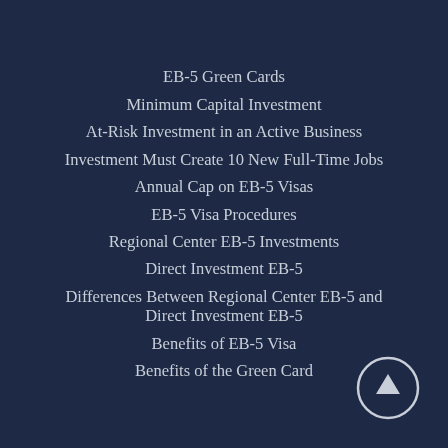EB-5 Green Cards
Minimum Capital Investment
At-Risk Investment in an Active Business
Investment Must Create 10 New Full-Time Jobs
Annual Cap on EB-5 Visas
EB-5 Visa Procedures
Regional Center EB-5 Investments
Direct Investment EB-5
Differences Between Regional Center EB-5 and Direct Investment EB-5
Benefits of EB-5 Visa
Benefits of the Green Card
[Figure (other): Circular scroll-to-top button with upward arrow icon, positioned at bottom-right corner]